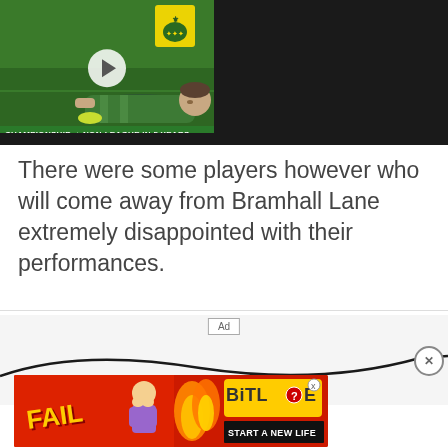[Figure (screenshot): Video thumbnail showing a footballer lying on a green pitch wearing a green kit, with a play button overlay. A team crest is visible top right. Banner text at bottom reads 'Championship → Non-League In 5 Years']
There were some players however who will come away from Bramhall Lane extremely disappointed with their performances.
[Figure (screenshot): Advertisement area with swoosh line decoration, close (X) button, 'Ad' label, and a BitLife game advertisement banner showing 'FAIL', 'START A NEW LIFE' text on a red background with cartoon character and flames]